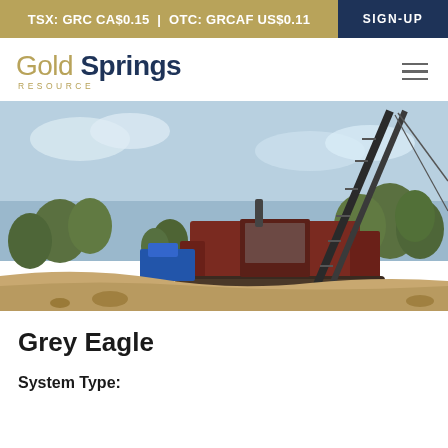TSX: GRC CA$0.15 | OTC: GRCAF US$0.11  SIGN-UP
[Figure (logo): Gold Springs Resource logo with gold 'Gold' and dark navy 'Springs' text and 'RESOURCE' subtitle]
[Figure (photo): Large drilling rig / drill machine on a mining site with trees and blue sky in background, taken outdoors at a gold mining exploration site]
Grey Eagle
System Type: